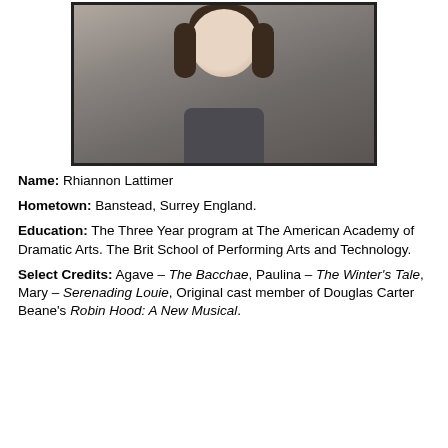[Figure (photo): Headshot photo of Rhiannon Lattimer, a young woman with dark shoulder-length hair and bangs, wearing a dark tank top, against a grey background.]
Name: Rhiannon Lattimer
Hometown: Banstead, Surrey England.
Education: The Three Year program at The American Academy of Dramatic Arts. The Brit School of Performing Arts and Technology.
Select Credits: Agave – The Bacchae, Paulina – The Winter's Tale, Mary – Serenading Louie, Original cast member of Douglas Carter Beane's Robin Hood: A New Musical.